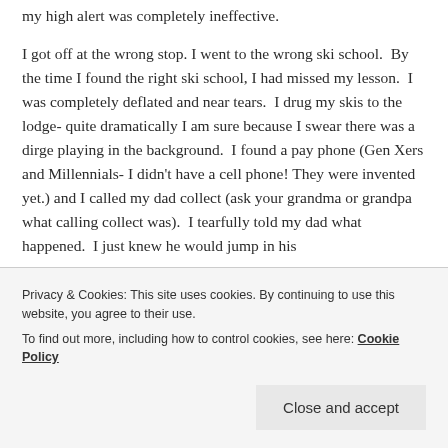my high alert was completely ineffective.
I got off at the wrong stop. I went to the wrong ski school.  By the time I found the right ski school, I had missed my lesson.  I was completely deflated and near tears.  I drug my skis to the lodge- quite dramatically I am sure because I swear there was a dirge playing in the background.  I found a pay phone (Gen Xers and Millennials- I didn't have a cell phone! They were invented yet.) and I called my dad collect (ask your grandma or grandpa what calling collect was).  I tearfully told my dad what happened.  I just knew he would jump in his
Privacy & Cookies: This site uses cookies. By continuing to use this website, you agree to their use.
To find out more, including how to control cookies, see here: Cookie Policy